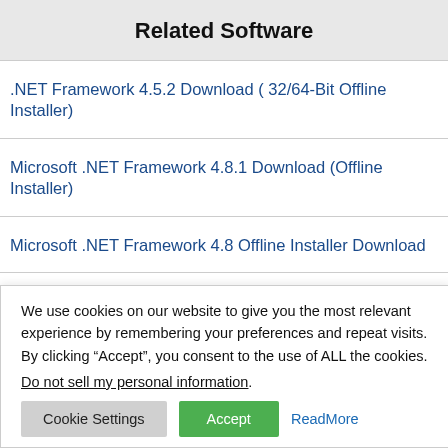Related Software
.NET Framework 4.5.2 Download ( 32/64-Bit Offline Installer)
Microsoft .NET Framework 4.8.1 Download (Offline Installer)
Microsoft .NET Framework 4.8 Offline Installer Download
We use cookies on our website to give you the most relevant experience by remembering your preferences and repeat visits. By clicking “Accept”, you consent to the use of ALL the cookies.
Do not sell my personal information.
Cookie Settings | Accept | ReadMore